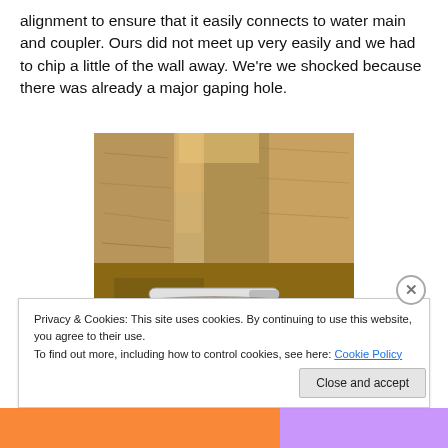alignment to ensure that it easily connects to water main and coupler. Ours did not meet up very easily and we had to chip a little of the wall away. We're we shocked because there was already a major gaping hole.
[Figure (photo): Excavation photo showing a pipe in a hole next to concrete or stone wall, with soil surroundings visible]
Privacy & Cookies: This site uses cookies. By continuing to use this website, you agree to their use.
To find out more, including how to control cookies, see here: Cookie Policy
Close and accept